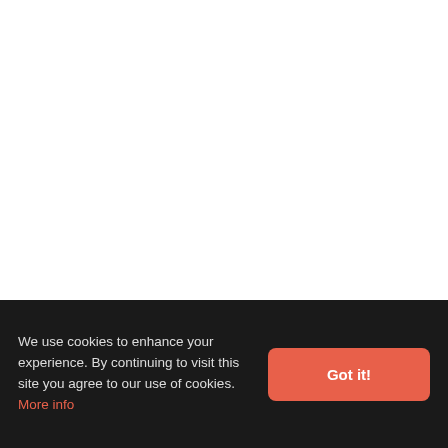[Figure (photo): White/blank area representing a photo of a deer in Iceland during a sunset — the image content itself is not visible in this rendering.]
Deer in Iceland during a sunset
We use cookies to enhance your experience. By continuing to visit this site you agree to our use of cookies. More info